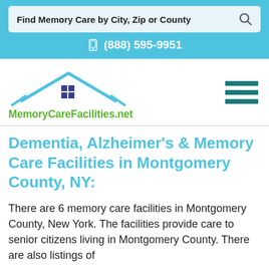Find Memory Care by City, Zip or County
(888) 595-9951
[Figure (logo): MemoryCareFacilities.net logo with house icon]
Dementia, Alzheimer’s & Memory Care Facilities in Montgomery County, NY:
There are 6 memory care facilities in Montgomery County, New York. The facilities provide care to senior citizens living in Montgomery County. There are also listings of